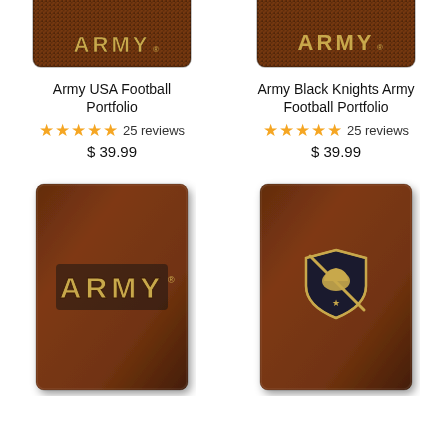[Figure (photo): Top portion of dark brown leather portfolio with Army text logo, cropped at top]
[Figure (photo): Top portion of dark brown leather portfolio with Army text, cropped at top]
Army USA Football Portfolio
★★★★★ 25 reviews
$ 39.99
Army Black Knights Army Football Portfolio
★★★★★ 25 reviews
$ 39.99
[Figure (photo): Dark brown leather portfolio with gold ARMY text emblem on front]
[Figure (photo): Dark brown leather portfolio with gold Army Black Knights shield crest emblem on front]